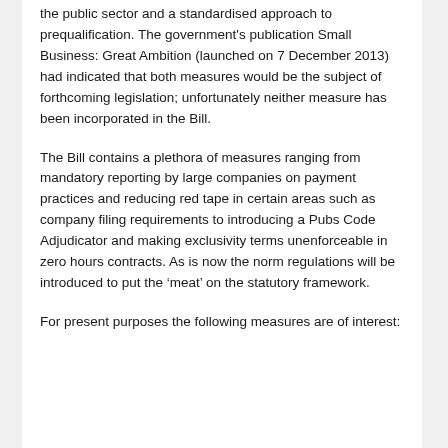the public sector and a standardised approach to prequalification. The government's publication Small Business: Great Ambition (launched on 7 December 2013) had indicated that both measures would be the subject of forthcoming legislation; unfortunately neither measure has been incorporated in the Bill.
The Bill contains a plethora of measures ranging from mandatory reporting by large companies on payment practices and reducing red tape in certain areas such as company filing requirements to introducing a Pubs Code Adjudicator and making exclusivity terms unenforceable in zero hours contracts. As is now the norm regulations will be introduced to put the ‘meat’ on the statutory framework.
For present purposes the following measures are of interest: